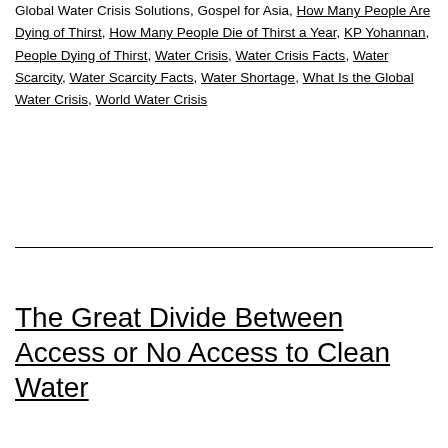Global Water Crisis Solutions, Gospel for Asia, How Many People Are Dying of Thirst, How Many People Die of Thirst a Year, KP Yohannan, People Dying of Thirst, Water Crisis, Water Crisis Facts, Water Scarcity, Water Scarcity Facts, Water Shortage, What Is the Global Water Crisis, World Water Crisis
The Great Divide Between Access or No Access to Clean Water